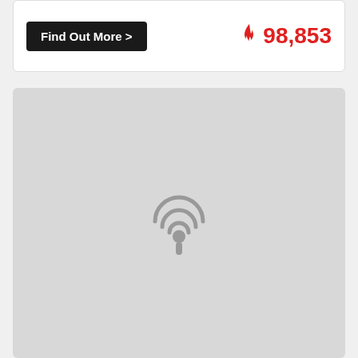Find Out More >
98,853
[Figure (screenshot): Gray map placeholder area with a podcast/radio icon centered in the middle]